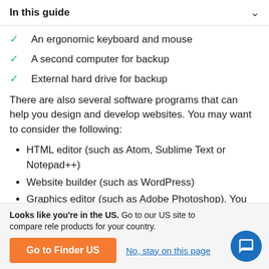In this guide
An ergonomic keyboard and mouse
A second computer for backup
External hard drive for backup
There are also several software programs that can help you design and develop websites. You may want to consider the following:
HTML editor (such as Atom, Sublime Text or Notepad++)
Website builder (such as WordPress)
Graphics editor (such as Adobe Photoshop). You may also want to consider an Adobe Creative Cloud
Looks like you're in the US. Go to our US site to compare rele products for your country.